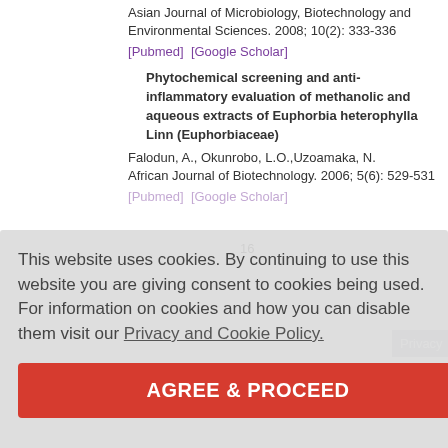Asian Journal of Microbiology, Biotechnology and Environmental Sciences. 2008; 10(2): 333-336
[Pubmed]  [Google Scholar]
16
Phytochemical screening and anti-inflammatory evaluation of methanolic and aqueous extracts of Euphorbia heterophylla Linn (Euphorbiaceae)
Falodun, A., Okunrobo, L.O.,Uzoamaka, N. African Journal of Biotechnology. 2006; 5(6): 529-531
[Pubmed]  [Google Scholar]
This website uses cookies. By continuing to use this website you are giving consent to cookies being used. For information on cookies and how you can disable them visit our Privacy and Cookie Policy.
AGREE & PROCEED
Privacy